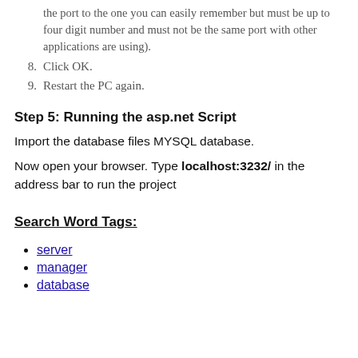the port to the one you can easily remember but must be up to four digit number and must not be the same port with other applications are using).
8. Click OK.
9. Restart the PC again.
Step 5: Running the asp.net Script
Import the database files MYSQL database.
Now open your browser. Type localhost:3232/ in the address bar to run the project
Search Word Tags:
server
manager
database